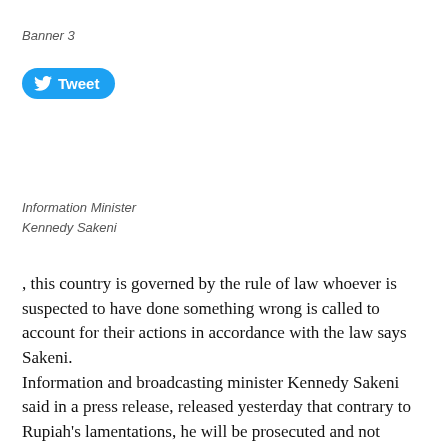Banner 3
[Figure (screenshot): Twitter Tweet button with bird logo]
Information Minister
Kennedy Sakeni
, this country is governed by the rule of law whoever is suspected to have done something wrong is called to account for their actions in accordance with the law says Sakeni. Information and broadcasting minister Kennedy Sakeni said in a press release, released yesterday that contrary to Rupiah's lamentations, he will be prosecuted and not